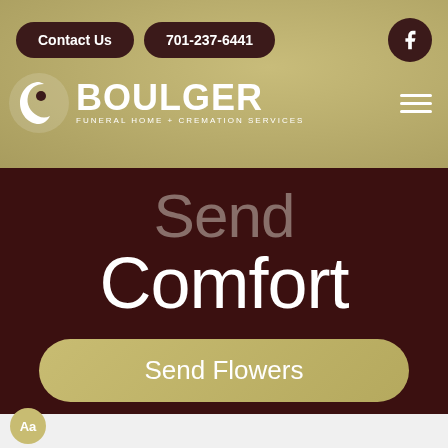[Figure (screenshot): Boulger Funeral Home website header with navigation buttons Contact Us, phone number 701-237-6441, Facebook icon, Boulger logo with tagline Funeral Home + Cremation Services, and hamburger menu icon on khaki/tan background]
Send Comfort
[Figure (other): Send Flowers button on dark brown background]
Aa